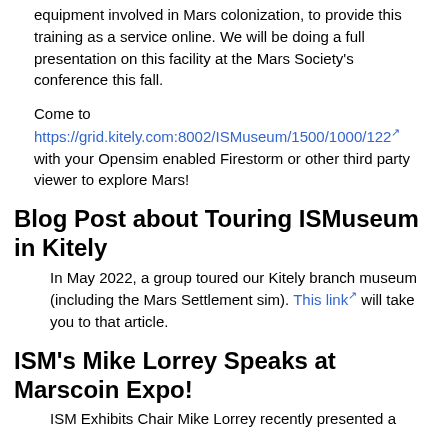equipment involved in Mars colonization, to provide this training as a service online. We will be doing a full presentation on this facility at the Mars Society's conference this fall.
Come to https://grid.kitely.com:8002/ISMuseum/1500/1000/122 with your Opensim enabled Firestorm or other third party viewer to explore Mars!
Blog Post about Touring ISMuseum in Kitely
In May 2022, a group toured our Kitely branch museum (including the Mars Settlement sim). This link will take you to that article.
ISM's Mike Lorrey Speaks at Marscoin Expo!
ISM Exhibits Chair Mike Lorrey recently presented a